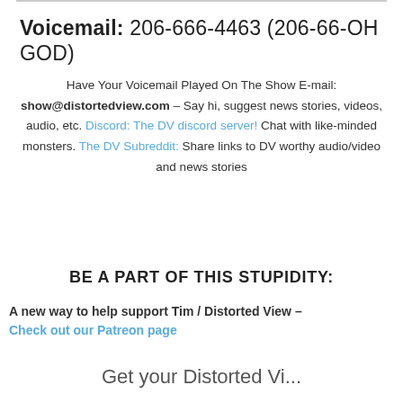Voicemail: 206-666-4463 (206-66-OH GOD)
Have Your Voicemail Played On The Show E-mail: show@distortedview.com – Say hi, suggest news stories, videos, audio, etc. Discord: The DV discord server! Chat with like-minded monsters. The DV Subreddit: Share links to DV worthy audio/video and news stories
BE A PART OF THIS STUPIDITY:
A new way to help support Tim / Distorted View – Check out our Patreon page
Get your Distorted Vi...